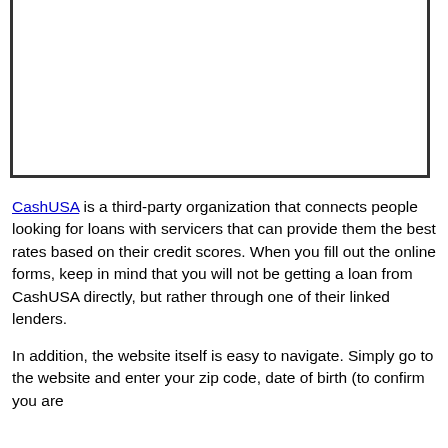[Figure (other): Screenshot or image partially visible inside a bordered box, cropped at the top]
CashUSA is a third-party organization that connects people looking for loans with servicers that can provide them the best rates based on their credit scores. When you fill out the online forms, keep in mind that you will not be getting a loan from CashUSA directly, but rather through one of their linked lenders.
In addition, the website itself is easy to navigate. Simply go to the website and enter your zip code, date of birth (to confirm you are